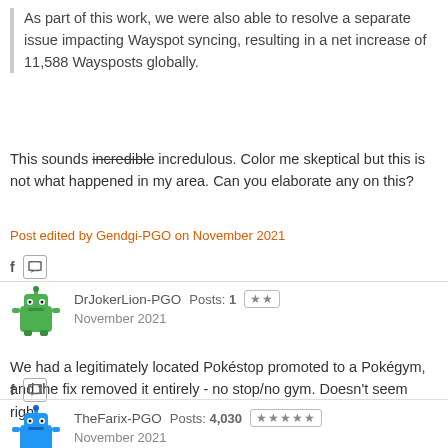As part of this work, we were also able to resolve a separate issue impacting Wayspot syncing, resulting in a net increase of 11,588 Waysposts globally.
This sounds incredible incredulous. Color me skeptical but this is not what happened in my area. Can you elaborate any on this?
Post edited by Gendgi-PGO on November 2021
DrJokerLion-PGO  Posts: 1  **  November 2021
We had a legitimately located Pokéstop promoted to a Pokégym, and the fix removed it entirely - no stop/no gym. Doesn't seem right.
TheFarix-PGO  Posts: 4,030  *****  November 2021